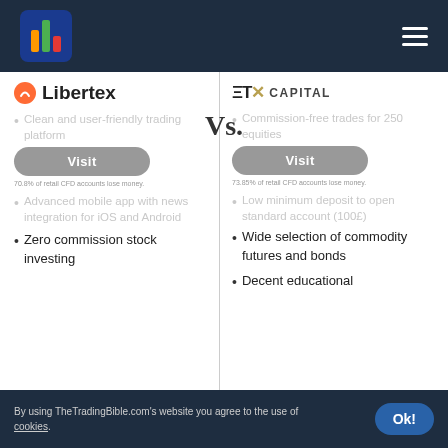Libertex vs ETX Capital comparison page header navigation
[Figure (logo): Libertex broker logo with orange icon and bold text]
[Figure (logo): ETX Capital broker logo with stylized text]
Vs.
Visit
70.8% of retail CFD accounts lose money.
Visit
73.85% of retail CFD accounts lose money.
Clean and user-friendly trading platform
Advanced mobile app with news integration for iOS and Android
Zero commission stock investing
Commission-free trades for 250 equities
Low minimum deposit to open standard account (100£)
Wide selection of commodity futures and bonds
Decent educational
By using TheTradingBible.com's website you agree to the use of cookies.  Ok!